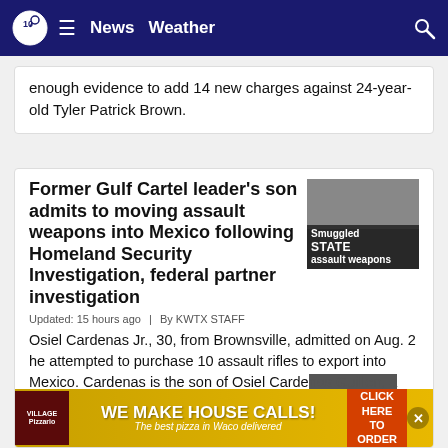10 News | News  Weather
enough evidence to add 14 new charges against 24-year-old Tyler Patrick Brown.
Former Gulf Cartel leader's son admits to moving assault weapons into Mexico following Homeland Security Investigation, federal partner investigation
[Figure (photo): Thumbnail image with text overlay reading STATE and Smuggled assault weapons]
Updated: 15 hours ago  |  By KWTX STAFF
Osiel Cardenas Jr., 30, from Brownsville, admitted on Aug. 2 he attempted to purchase 10 assault rifles to export into Mexico. Cardenas is the son of Osiel Cardenas Guillen, a former head of the Gulf Cartel who was extradited to the United States and is in federal prison.
[Figure (photo): Village Pizzario advertisement banner: WE MAKE HOUSE CALLS! The best pizza in Waco delivered. CLICK HERE TO ORDER.]